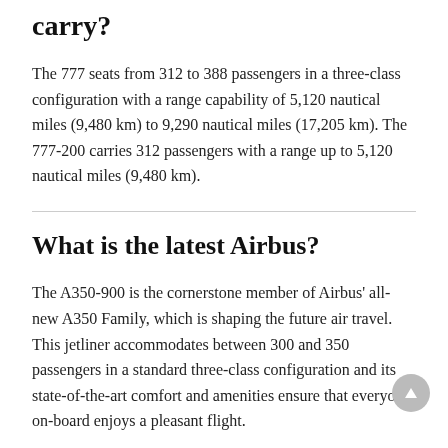How many passengers can a 777 carry?
The 777 seats from 312 to 388 passengers in a three-class configuration with a range capability of 5,120 nautical miles (9,480 km) to 9,290 nautical miles (17,205 km). The 777-200 carries 312 passengers with a range up to 5,120 nautical miles (9,480 km).
What is the latest Airbus?
The A350-900 is the cornerstone member of Airbus' all-new A350 Family, which is shaping the future air travel. This jetliner accommodates between 300 and 350 passengers in a standard three-class configuration and its state-of-the-art comfort and amenities ensure that everyone on-board enjoys a pleasant flight.